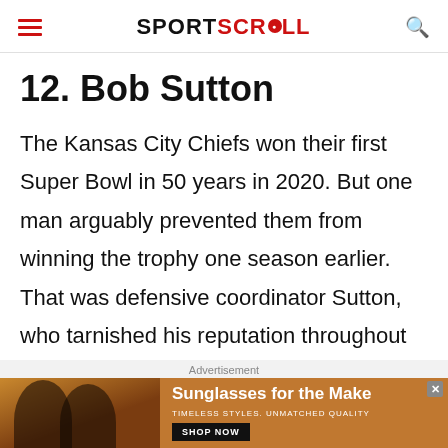SPORTSCROLL
12. Bob Sutton
The Kansas City Chiefs won their first Super Bowl in 50 years in 2020. But one man arguably prevented them from winning the trophy one season earlier. That was defensive coordinator Sutton, who tarnished his reputation throughout
[Figure (photo): Advertisement banner: Sunglasses ad with two women wearing sunglasses on orange/brown background. Text reads 'Sunglasses for the Make', 'TIMELESS STYLES. UNMATCHED QUALITY', 'SHOP NOW' button.]